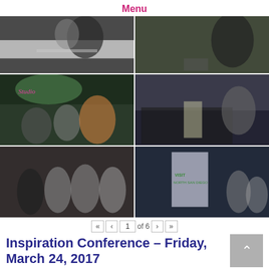Menu
[Figure (photo): Six event photos from the Inspiration Conference arranged in a 2x3 grid. Top row: woman at a table, woman with drink. Middle row: group of women posing near a sign that reads 'Studio', two women at a wine table. Bottom row: group of four people posing at an outdoor event, outdoor venue entrance with a 'Visit North San Diego' banner.]
« ‹ 1 of 6 › »
Inspiration Conference – Friday, March 24, 2017